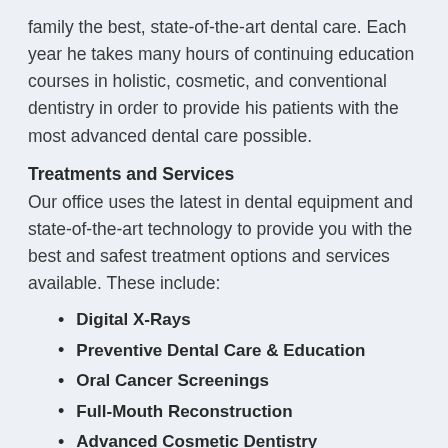family the best, state-of-the-art dental care. Each year he takes many hours of continuing education courses in holistic, cosmetic, and conventional dentistry in order to provide his patients with the most advanced dental care possible.
Treatments and Services
Our office uses the latest in dental equipment and state-of-the-art technology to provide you with the best and safest treatment options and services available. These include:
Digital X-Rays
Preventive Dental Care & Education
Oral Cancer Screenings
Full-Mouth Reconstruction
Advanced Cosmetic Dentistry